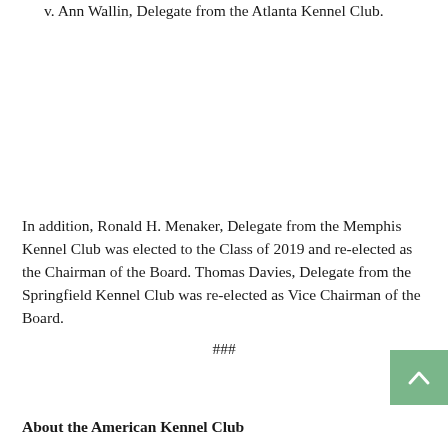v. Ann Wallin, Delegate from the Atlanta Kennel Club.
In addition, Ronald H. Menaker, Delegate from the Memphis Kennel Club was elected to the Class of 2019 and re-elected as the Chairman of the Board. Thomas Davies, Delegate from the Springfield Kennel Club was re-elected as Vice Chairman of the Board.
###
About the American Kennel Club